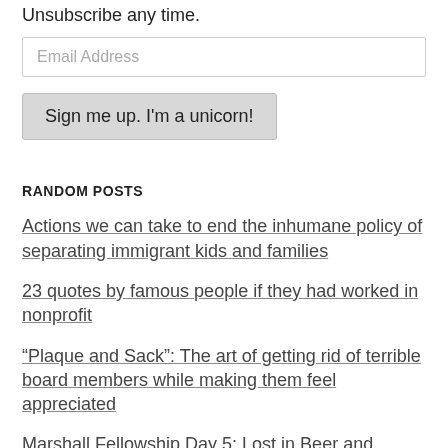Unsubscribe any time.
Email Address
Sign me up. I'm a unicorn!
RANDOM POSTS
Actions we can take to end the inhumane policy of separating immigrant kids and families
23 quotes by famous people if they had worked in nonprofit
“Plaque and Sack”: The art of getting rid of terrible board members while making them feel appreciated
Marshall Fellowship Day 5: Lost in Beer and Chocolate
9 lessons for nonprofits from Super Bowl XLVIII and the Seahawks